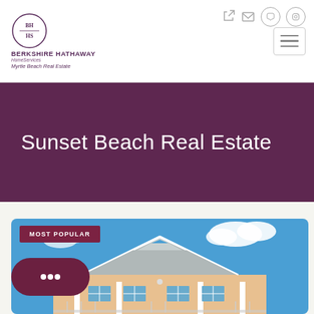[Figure (logo): Berkshire Hathaway HomeServices Myrtle Beach Real Estate logo with circular BH/HS emblem]
Sunset Beach Real Estate
[Figure (photo): Beach house with peaked roofline, gray shingles, white trim, pale yellow/peach siding, blue sky with clouds, MOST POPULAR label overlay and chat button]
MOST POPULAR